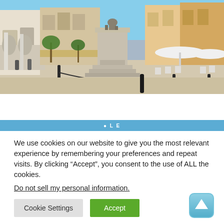[Figure (photo): A sunny town square with a stone monument/statue on a pedestal in the center, surrounded by chain-linked bollards. Colorful European-style buildings in background, with outdoor cafe seating under white umbrellas. Clear blue sky.]
We use cookies on our website to give you the most relevant experience by remembering your preferences and repeat visits. By clicking “Accept”, you consent to the use of ALL the cookies.
Do not sell my personal information.
Cookie Settings
Accept